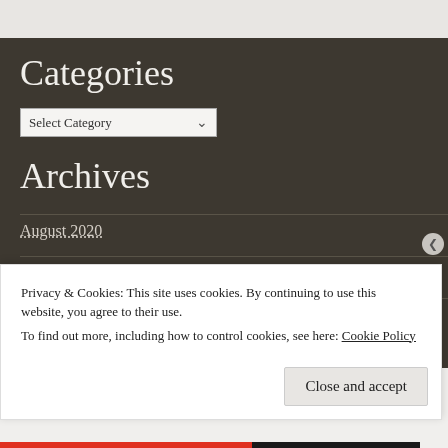Categories
Select Category
Archives
August 2020
July 2020
April 2020
Privacy & Cookies: This site uses cookies. By continuing to use this website, you agree to their use.
To find out more, including how to control cookies, see here: Cookie Policy
Close and accept